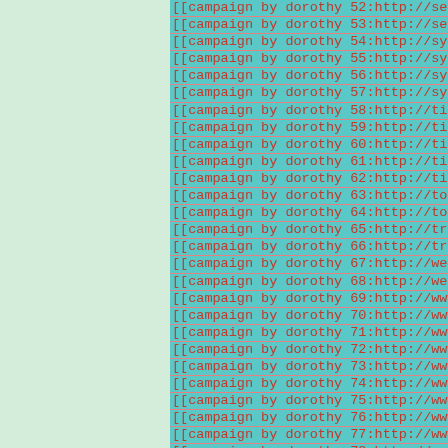[[campaign by dorothy 52:http://seoartdesign.ma
[[campaign by dorothy 53:http://seoartdesign.ma
[[campaign by dorothy 54:http://sym-bio.jpn.org
[[campaign by dorothy 55:http://sym-bio.jpn.org
[[campaign by dorothy 56:http://sym-bio.jpn.org
[[campaign by dorothy 57:http://sym-bio.jpn.org
[[campaign by dorothy 58:http://timeflow.webcro
[[campaign by dorothy 59:http://timeflow.webcro
[[campaign by dorothy 60:http://timeflow.webcro
[[campaign by dorothy 61:http://timeflow.webcro
[[campaign by dorothy 62:http://timeflow.webcro
[[campaign by dorothy 63:http://tokiminori.unde
[[campaign by dorothy 64:http://tokiminori.unde
[[campaign by dorothy 65:http://try.main.jp/pow
[[campaign by dorothy 66:http://try.main.jp/pow
[[campaign by dorothy 67:http://web.sfc.keio.ac
[[campaign by dorothy 68:http://web.sfc.keio.ac
[[campaign by dorothy 69:http://www.giscience.s
[[campaign by dorothy 70:http://www.giscience.s
[[campaign by dorothy 71:http://www.players-clu
[[campaign by dorothy 72:http://www.players-clu
[[campaign by dorothy 73:http://www.players-clu
[[campaign by dorothy 74:http://www.players-clu
[[campaign by dorothy 75:http://www.sse.tottori
[[campaign by dorothy 76:http://www.sse.tottori
[[campaign by dorothy 77:http://www.sse.tottori
[[campaign by dorothy 78:http://www.sse.tottori